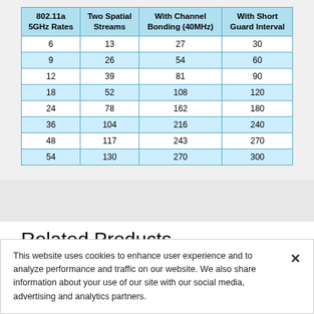| 802.11a 5GHz Rates | Two Spatial Streams | With Channel Bonding (40MHz) | With Short Guard Interval |
| --- | --- | --- | --- |
| 6 | 13 | 27 | 30 |
| 9 | 26 | 54 | 60 |
| 12 | 39 | 81 | 90 |
| 18 | 52 | 108 | 120 |
| 24 | 78 | 162 | 180 |
| 36 | 104 | 216 | 240 |
| 48 | 117 | 243 | 270 |
| 54 | 130 | 270 | 300 |
Related Products
This article applies to 134 products.
This website uses cookies to enhance user experience and to analyze performance and traffic on our website. We also share information about your use of our site with our social media, advertising and analytics partners.